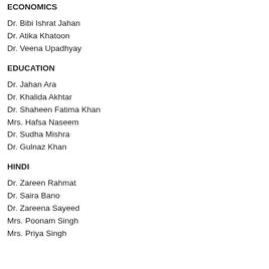ECONOMICS
Dr. Bibi Ishrat Jahan
Dr. Atika Khatoon
Dr. Veena Upadhyay
EDUCATION
Dr. Jahan Ara
Dr. Khalida Akhtar
Dr. Shaheen Fatima Khan
Mrs. Hafsa Naseem
Dr. Sudha Mishra
Dr. Gulnaz Khan
HINDI
Dr. Zareen Rahmat
Dr. Saira Bano
Dr. Zareena Sayeed
Mrs. Poonam Singh
Mrs. Priya Singh